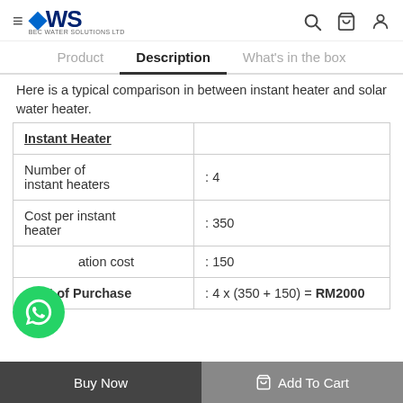DWS — navigation header with logo, search, cart, and account icons
Product | Description | What's in the box
Here is a typical comparison in between instant heater and solar water heater.
| Instant Heater |  |
| --- | --- |
| Number of instant heaters | : 4 |
| Cost per instant heater | : 350 |
| Installation cost | : 150 |
| Cost of Purchase | : 4 x (350 + 150) = RM2000 |
Buy Now | Add To Cart